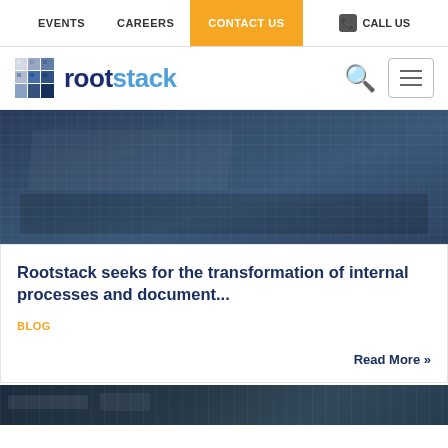EVENTS  CAREERS  CONTACT US  CALL US
[Figure (logo): Rootstack logo with cube icon and brand name]
[Figure (photo): Dark blue tinted photo of laptop keyboard with hands typing]
Rootstack seeks for the transformation of internal processes and document...
BLOG
Read More »
[Figure (photo): Dark blue tinted partial photo at bottom of page]